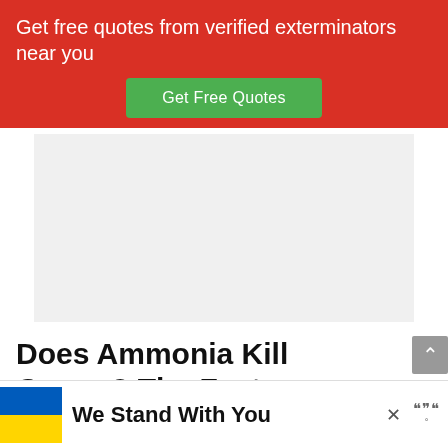Get free quotes from verified exterminators near you
Get Free Quotes
[Figure (other): Advertisement placeholder (gray box)]
Does Ammonia Kill Germs? The Facts
Even though ammonia is not registered as a dis­infectant, it comes to
[Figure (other): Banner ad with Ukraine flag and text We Stand With You, with close button X]